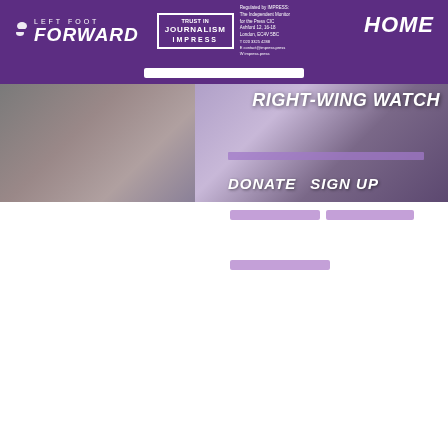LEFT FOOT FORWARD
[Figure (logo): Trust in Journalism IMPRESS badge/logo with regulatory information]
HOME
[Figure (photo): Hero banner with blurred background figures and RIGHT-WING WATCH overlay text, with DONATE and SIGN UP buttons]
RIGHT-WING WATCH
DONATE
SIGN UP